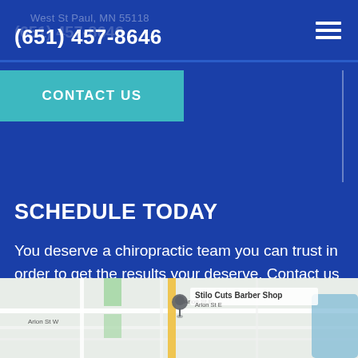West St Paul, MN 55118
(651) 457-8646
CONTACT US
SCHEDULE TODAY
You deserve a chiropractic team you can trust in order to get the results your deserve. Contact us today.
SCHEDULE NOW
[Figure (map): Google Maps view showing location pin near Stilo Cuts Barber Shop on Arion St E, West St Paul area. Streets visible include Arion St W and Arion St E.]